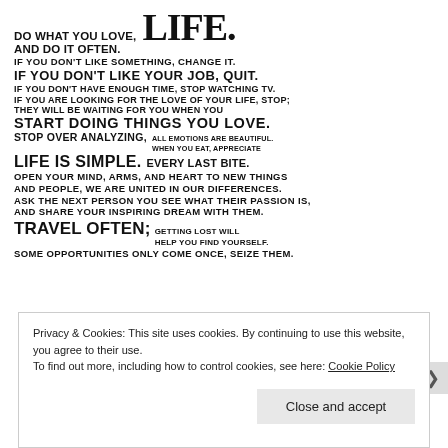DO WHAT YOU LOVE, LIFE. AND DO IT OFTEN. IF YOU DON'T LIKE SOMETHING, CHANGE IT. IF YOU DON'T LIKE YOUR JOB, QUIT. IF YOU DON'T HAVE ENOUGH TIME, STOP WATCHING TV. IF YOU ARE LOOKING FOR THE LOVE OF YOUR LIFE, STOP; THEY WILL BE WAITING FOR YOU WHEN YOU START DOING THINGS YOU LOVE. STOP OVER ANALYZING, ALL EMOTIONS ARE BEAUTIFUL. WHEN YOU EAT, APPRECIATE LIFE IS SIMPLE. EVERY LAST BITE. OPEN YOUR MIND, ARMS, AND HEART TO NEW THINGS AND PEOPLE, WE ARE UNITED IN OUR DIFFERENCES. ASK THE NEXT PERSON YOU SEE WHAT THEIR PASSION IS, AND SHARE YOUR INSPIRING DREAM WITH THEM. TRAVEL OFTEN; GETTING LOST WILL HELP YOU FIND YOURSELF. SOME OPPORTUNITIES ONLY COME ONCE, SEIZE THEM.
Privacy & Cookies: This site uses cookies. By continuing to use this website, you agree to their use. To find out more, including how to control cookies, see here: Cookie Policy
Close and accept